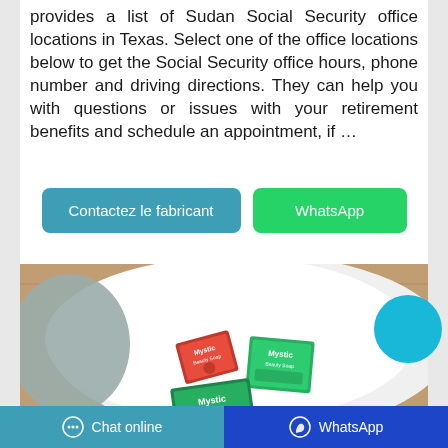provides a list of Sudan Social Security office locations in Texas. Select one of the office locations below to get the Social Security office hours, phone number and driving directions. They can help you with questions or issues with your retirement benefits and schedule an appointment, if …
[Figure (other): Two buttons side by side: 'Contactez le fabricant' (teal/blue) and 'WhatsApp' (green)]
[Figure (photo): Product photo showing Mystic Beauty Soap bars on a white towel with wooden background]
[Figure (other): Cyan circular chat button floating on right side]
Chat online   WhatsApp